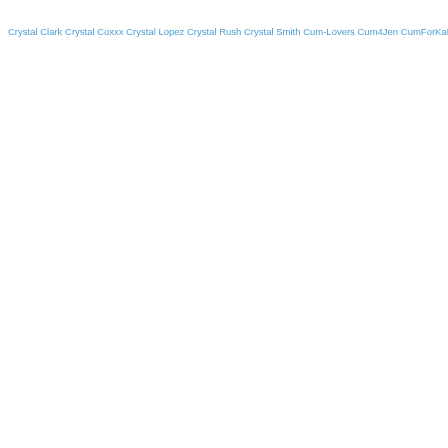Crystal Clark Crystal Coxxx Crystal Lopez Crystal Rush Crystal Smith Cum-Lovers Cum4Jen CumForKate Cumsessed Cum_Passion Curious Clover CurvyElvishGirl Curvy Quinn Cuteblonde666 CuteButFilth Cutefeetwoman CuteLittleNika Cute Mary Cutiebites CutieElly Cutiepii33quinn Cy Storm Dacey Harlot Daddyscubanita Dahlia Dee Dahlia Rain Dahlia Sky Daisy Belle Daisy Delicious Daisy Ducati Daisy G Daisy Lee Daisy Lynn Daisy Stone Daizha Morgann Dakota Burns Dakota Charms Dakota James Dakota Skye Dame Olga Dana DeArmond Dana Wolf Dani Arcadia Dani Blu Dani Dare Daniela Cora Hansson Daniella Rose Danielle Maye Danigirl866 Danika Mori Dani Sorrento Dani Sparks Danni Dupree Daphne Dare Dara's Daily Taboo DarkFlameAngel Darya Jane Dava Foxx DaveAndAndi Davina Fayette Daya Knight Debbie Clark Debi Diamond Deborah DeesseSonia Delilah Blue Delirious Hunter Della Dane Demi Deveena Demi Diveena Demii God Demi Lopez Demi Sutra Demy DeNata Deniche Denise Foxxx Denise Sky Desiree Desiree Audri Desiree Lopez Destination Destiny Cruz Destiny Diaz Destiny Doa Devon Breeze Dezi Rae Diamond Kitty Diana Grace Diane Chrystall DickForLily Didi Diamond Dillion Carter Dion De Rossi Dirtychaii DirtyLady Dirty Priest Ditsy Daisy Diverse Stacey DivinaMaruuu Divine Caroline Divinely Divine Mistress Heather Dixie Lynn Doingwhatilove Dolce Vandela Dollie Darko Dollscult Dolly Diore Dolly Leigh Dolores Soma DominaNan Domina Paulina Domina Sara